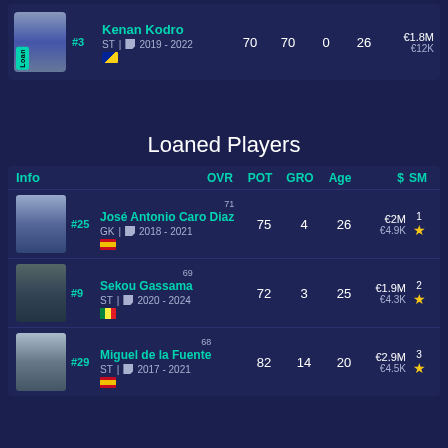| Info |  | OVR | POT | GRO | Age | $ | SM |
| --- | --- | --- | --- | --- | --- | --- | --- |
| #3 Kenan Kodro | ST | 2019-2022 | 70 | 70 | 0 | 26 | €1.8M / €12K |  |
Loaned Players
| Info | OVR | POT | GRO | Age | $ | SM |
| --- | --- | --- | --- | --- | --- | --- |
| #25 José Antonio Caro Diaz GK | 2018-2021 | 71 | 75 | 4 | 26 | €2M / €4.9K | 1★ |
| #9 Sekou Gassama ST | 2020-2024 | 69 | 72 | 3 | 25 | €1.9M / €4.3K | 2★ |
| #29 Miguel de la Fuente ST | 2017-2021 | 68 | 82 | 14 | 20 | €2.9M / €4.5K | 3★ |